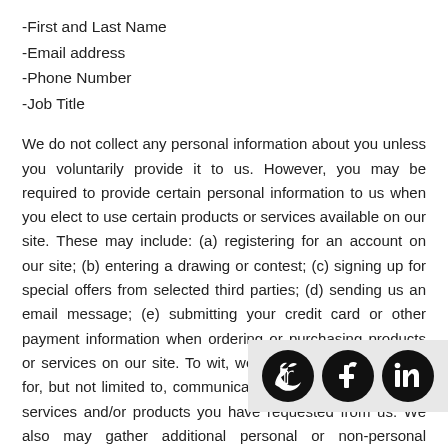-First and Last Name
-Email address
-Phone Number
-Job Title
We do not collect any personal information about you unless you voluntarily provide it to us. However, you may be required to provide certain personal information to us when you elect to use certain products or services available on our site. These may include: (a) registering for an account on our site; (b) entering a drawing or contest; (c) signing up for special offers from selected third parties; (d) sending us an email message; (e) submitting your credit card or other payment information when ordering or purchasing products or services on our site. To wit, we will use your information for, but not limited to, communicating with you in relation to services and/or products you have requested from us. We also may gather additional personal or non-personal information in the future.
Use of your Personal Information
QuickEMR collects and uses your personal information to operate its website and deliver services you have requested. QuickEMR may also use your personally identifiable information to inform you of other products or services available from QuickEMR
[Figure (infographic): Social media icons: Twitter, Facebook, LinkedIn in circular black buttons on a light grey background]